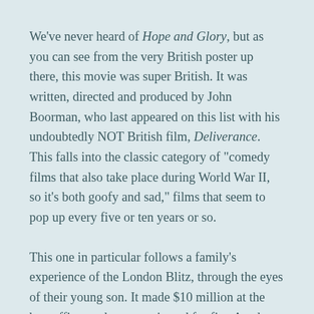We've never heard of Hope and Glory, but as you can see from the very British poster up there, this movie was super British. It was written, directed and produced by John Boorman, who last appeared on this list with his undoubtedly NOT British film, Deliverance. This falls into the classic category of "comedy films that also take place during World War II, so it's both goofy and sad," films that seem to pop up every five or ten years or so.
This one in particular follows a family's experience of the London Blitz, through the eyes of their young son. It made $10 million at the box office, and was nominated for five Academy Awards, winning none of them. While it was a critical success, it's another